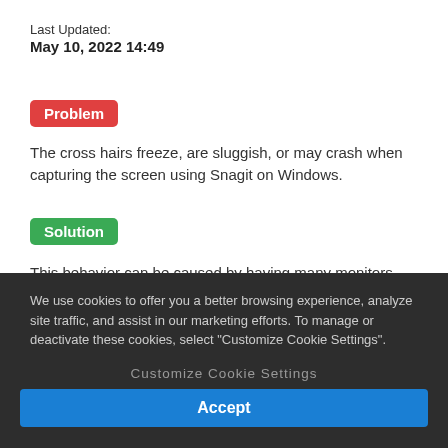Last Updated:
May 10, 2022 14:49
Problem
The cross hairs freeze, are sluggish, or may crash when capturing the screen using Snagit on Windows.
Solution
This behavior can be caused by having many monitors connected to your computer, or using multiple 4K monitors. Snagit currently supports using 2-3 monitors, or a single 4K monitor. However, there are some things that are worth
We use cookies to offer you a better browsing experience, analyze site traffic, and assist in our marketing efforts. To manage or deactivate these cookies, select "Customize Cookie Settings".
Customize Cookie Settings
Accept